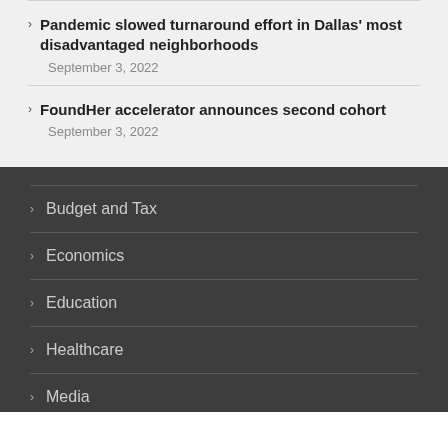Pandemic slowed turnaround effort in Dallas' most disadvantaged neighborhoods
September 3, 2022
FoundHer accelerator announces second cohort
September 3, 2022
Budget and Tax
Economics
Education
Healthcare
Media